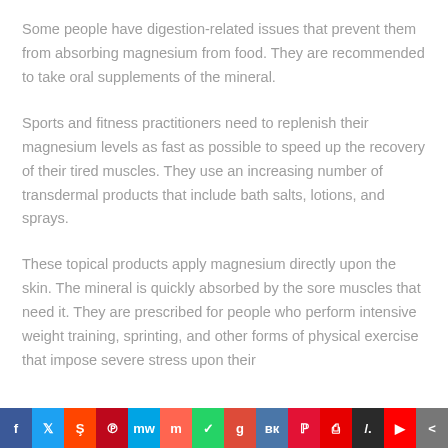Some people have digestion-related issues that prevent them from absorbing magnesium from food. They are recommended to take oral supplements of the mineral.
Sports and fitness practitioners need to replenish their magnesium levels as fast as possible to speed up the recovery of their tired muscles. They use an increasing number of transdermal products that include bath salts, lotions, and sprays.
These topical products apply magnesium directly upon the skin. The mineral is quickly absorbed by the sore muscles that need it. They are prescribed for people who perform intensive weight training, sprinting, and other forms of physical exercise that impose severe stress upon their